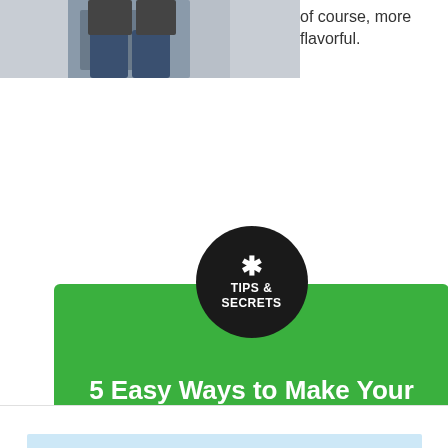[Figure (photo): Partial photo of a person wearing jeans, cropped at the top of the page]
of course, more flavorful.
[Figure (infographic): Green promotional banner with dark circular badge reading TIPS & SECRETS with asterisk icon, headline '5 Easy Ways to Make Your Food TASTE BETTER', and yellow button 'Get my free email series']
[Figure (other): Light blue bar at bottom of page]